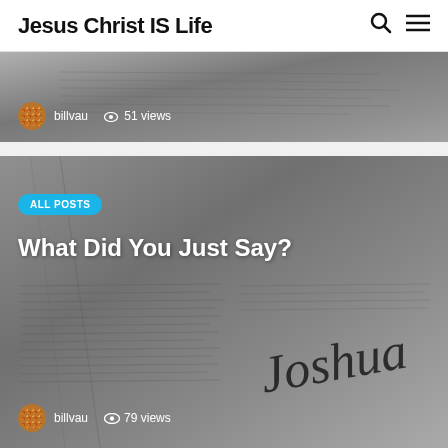Jesus Christ IS Life
[Figure (photo): Partial view of a Bible page, grayscale, with author avatar, username 'billvau', and '51 views' visible at bottom left]
[Figure (photo): Bible open to the book of Joshua, grayscale photo, with 'ALL POSTS' badge, title 'What Did You Just Say?', author avatar, username 'billvau', and '79 views' at bottom left]